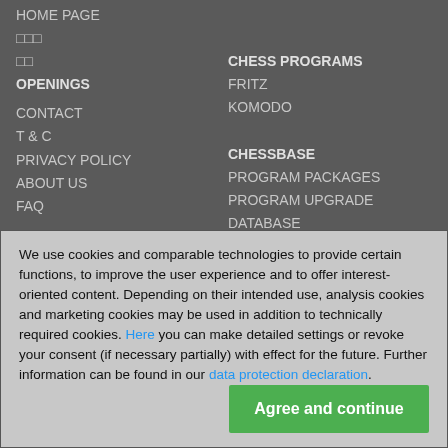HOME PAGE
□□□
□□
OPENINGS
DUCATS
CHESS PROGRAMS
FRITZ
KOMODO
CONTACT
T & C
CHESSBASE
PRIVACY POLICY
PROGRAM PACKAGES
ABOUT US
PROGRAM UPGRADE
FAQ
DATABASE
We use cookies and comparable technologies to provide certain functions, to improve the user experience and to offer interest-oriented content. Depending on their intended use, analysis cookies and marketing cookies may be used in addition to technically required cookies. Here you can make detailed settings or revoke your consent (if necessary partially) with effect for the future. Further information can be found in our data protection declaration.
Agree and continue